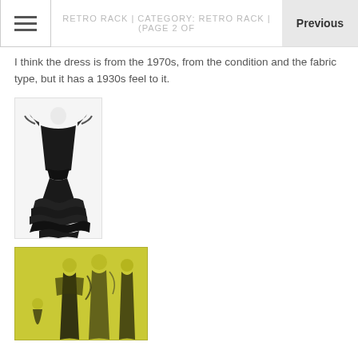RETRO RACK | CATEGORY: RETRO RACK | (PAGE 2 OF
I think the dress is from the 1970s, from the condition and the fabric type, but it has a 1930s feel to it.
[Figure (photo): Black evening gown with feathered/ruffled hem and off-shoulder neckline, displayed on a mannequin against white background]
[Figure (illustration): Vintage fashion illustration on yellow-green background showing three women in 1930s style evening wear]